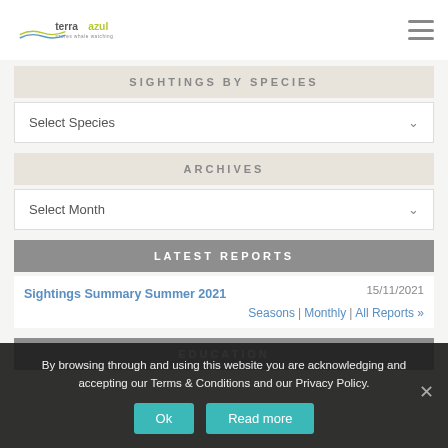[Figure (logo): Terra Azul logo - azores whale watching]
SIGHTINGS BY SPECIES
Select Species
ARCHIVES
Select Month
LATEST REPORTS
Sightings Summary Summer 2021   15/11/2021
Seasons | Monthly | All Reports »
EDUCATION
By browsing through and using this website you are acknowledging and accepting our Terms & Conditions and our Privacy Policy.
Ok   Read more